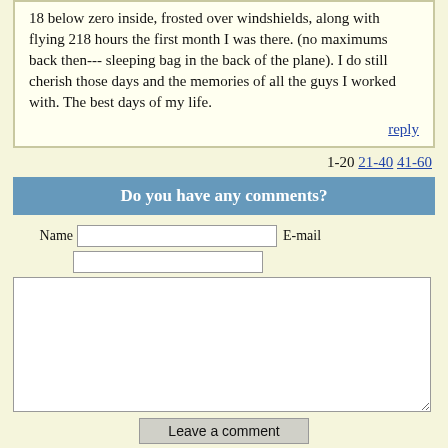18 below zero inside, frosted over windshields, along with flying 218 hours the first month I was there. (no maximums back then--- sleeping bag in the back of the plane). I do still cherish those days and the memories of all the guys I worked with. The best days of my life.
reply
1-20 21-40 41-60
Do you have any comments?
Name  E-mail  [form fields]  Leave a comment